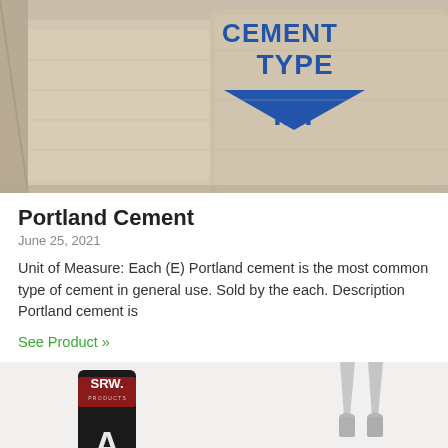[Figure (photo): Photo of cement bags labeled 'CEMENT TYPE I/II' with blue triangle markings on beige fabric bags]
Portland Cement
June 25, 2021
Unit of Measure: Each (E) Portland cement is the most common type of cement in general use. Sold by the each. Description Portland cement is
See Product »
[Figure (photo): Photo of SRW Products branded caulk tubes and applicator tips on a white background]